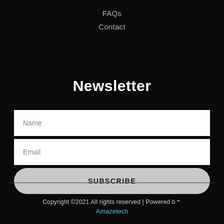FAQs
Contact
Newsletter
Name
Email
SUBSCRIBE
Copyright ©2021 All rights reserved | Powered by Amazetech